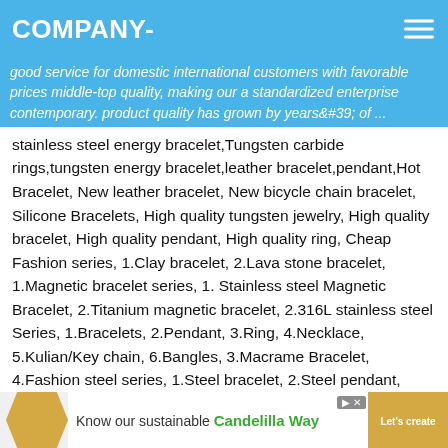COMPANY-
good service for domestic international customers with favorable prices middle-top quality, making our a standardized enterprise contemporary. product quality has grown by years&amp;#39; of ...
stainless steel energy bracelet,Tungsten carbide rings,tungsten energy bracelet,leather bracelet,pendant,Hot Bracelet, New leather bracelet, New bicycle chain bracelet, Silicone Bracelets, High quality tungsten jewelry, High quality bracelet, High quality pendant, High quality ring, Cheap Fashion series, 1.Clay bracelet, 2.Lava stone bracelet, 1.Magnetic bracelet series, 1. Stainless steel Magnetic Bracelet, 2.Titanium magnetic bracelet, 2.316L stainless steel Series, 1.Bracelets, 2.Pendant, 3.Ring, 4.Necklace, 5.Kulian/Key chain, 6.Bangles, 3.Macrame Bracelet, 4.Fashion steel series, 1.Steel bracelet, 2.Steel pendant, 3.Steel ring, 6.Ceramic Series, 1.Pendant, 2.Ring, 3.Bracelet, 7.Men leather bracelet, 1. Leather Bracelet, 2.Cheap leather bracelet, 3.Large leather bracelet, 8.Fashion Anchor bracelet,
[Figure (screenshot): Advertisement banner at the bottom with a hexagonal shape, text 'Know our sustainable Candelilla Way' in green, and a call-to-action button]